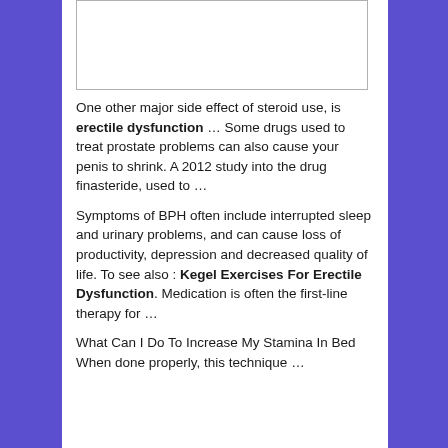[Figure (other): White rectangular image placeholder with border]
One other major side effect of steroid use, is erectile dysfunction … Some drugs used to treat prostate problems can also cause your penis to shrink. A 2012 study into the drug finasteride, used to …
Symptoms of BPH often include interrupted sleep and urinary problems, and can cause loss of productivity, depression and decreased quality of life. To see also : Kegel Exercises For Erectile Dysfunction. Medication is often the first-line therapy for …
What Can I Do To Increase My Stamina In Bed When done properly, this technique …